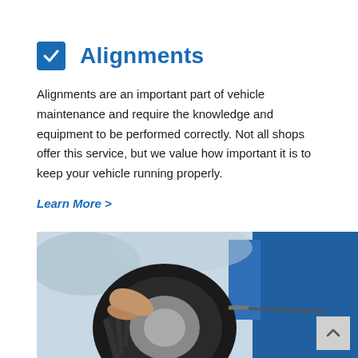Alignments
Alignments are an important part of vehicle maintenance and require the knowledge and equipment to be performed correctly. Not all shops offer this service, but we value how important it is to keep your vehicle running properly.
Learn More >
[Figure (photo): A mechanic's hands working on a car tire/wheel near a blue vehicle, photographed in an auto shop setting.]